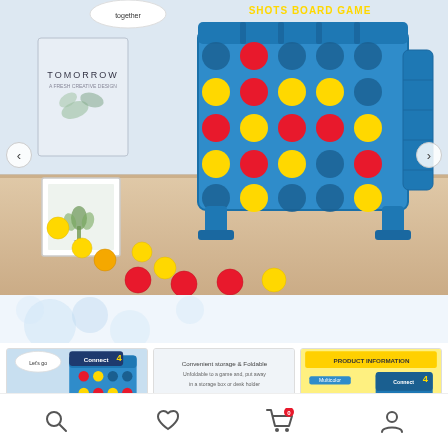[Figure (photo): Product photo of a blue Connect 4 style board game with red and yellow balls/discs on a wooden table background, with decorative items (book, frame, plant print) in the background. Arrow navigation buttons on left and right sides.]
[Figure (photo): Thumbnail 1: Connect 4 board game box and folded board]
[Figure (photo): Thumbnail 2: Hands holding the folded game board with text 'Convenient storage & Foldable to a game board, put away in a storage box or desk holder']
[Figure (photo): Thumbnail 3: Product information card with yellow background showing Connect 4 game details]